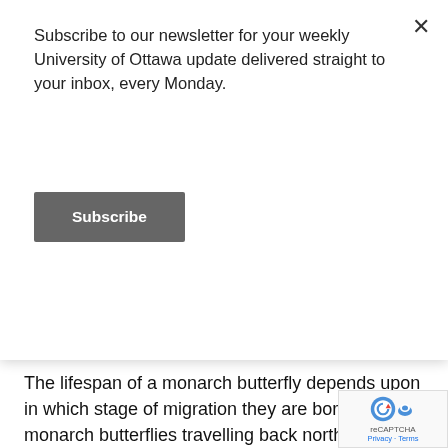Subscribe to our newsletter for your weekly University of Ottawa update delivered straight to your inbox, every Monday.
Subscribe
conservation efforts for these butterflies.
The lifespan of a monarch butterfly depends upon in which stage of migration they are born. Adult monarch butterflies travelling back north usually live around five weeks. However, the super generation of monarch butterflies, ie. the generation of monarchs who migrate to Mexico during the winter months, can live up to seven months. Not a lot is known about how butterflies orient themselves towards the south, but one hypothesis states that the angle of the sun plays a role, as butterfly antennas are able to detect light.